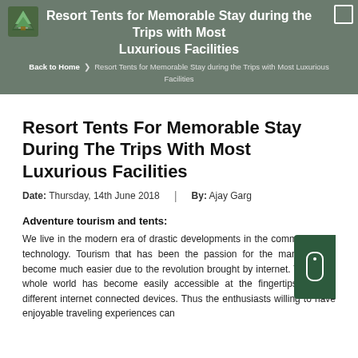Resort Tents for Memorable Stay during the Trips with Most Luxurious Facilities
Back to Home ❯ Resort Tents for Memorable Stay during the Trips with Most Luxurious Facilities
Resort Tents For Memorable Stay During The Trips With Most Luxurious Facilities
Date: Thursday, 14th June 2018  |  By: Ajay Garg
Adventure tourism and tents:
We live in the modern era of drastic developments in the communication technology. Tourism that has been the passion for the mankind has become much easier due to the revolution brought by internet. Today the whole world has become easily accessible at the fingertips through different internet connected devices. Thus the enthusiasts willing to have enjoyable traveling experiences can